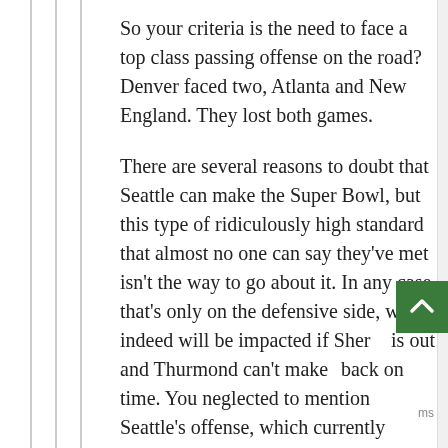So your criteria is the need to face a top class passing offense on the road? Denver faced two, Atlanta and New England. They lost both games.
There are several reasons to doubt that Seattle can make the Super Bowl, but this type of ridiculously high standard that almost no one can say they've met isn't the way to go about it. In any case, that's only on the defensive side, which indeed will be impacted if Sherm is out and Thurmond can't make back on time. You neglected to mention Seattle's offense, which currently shows relatively few